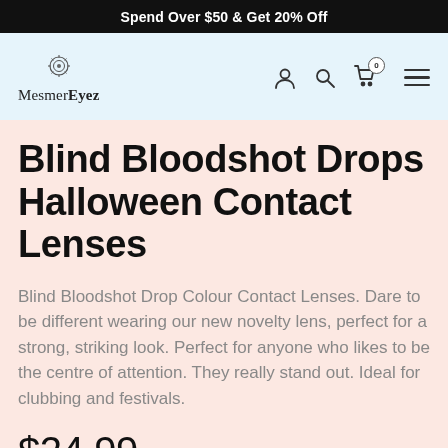Spend Over $50 & Get 20% Off
[Figure (logo): MesmerEyez logo with decorative circular icon above the text]
Blind Bloodshot Drops Halloween Contact Lenses
Blind Bloodshot Drop Colour Contact Lenses. Dare to be different wearing our new novelty lens, perfect for a strong, striking look. Perfect for anyone who likes to be the centre of attention. They really stand out. Ideal for clubbing and festivals.
$24.99